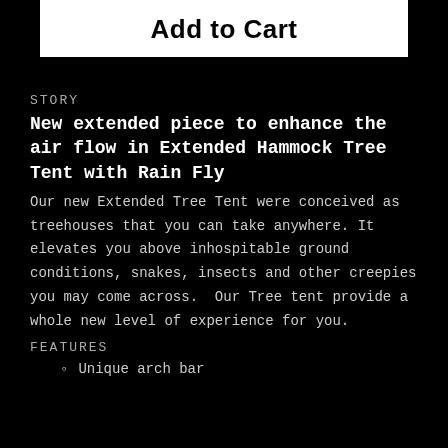Add to Cart
STORY
New extended piece to enhance the air flow in Extended Hammock Tree Tent with Rain Fly
Our new Extended Tree Tent were conceived as treehouses that you can take anywhere. It elevates you above inhospitable ground conditions, snakes, insects and other creepies you may come across.  Our Tree tent provide a whole new level of experience for you.
FEATURES
Unique arch bar